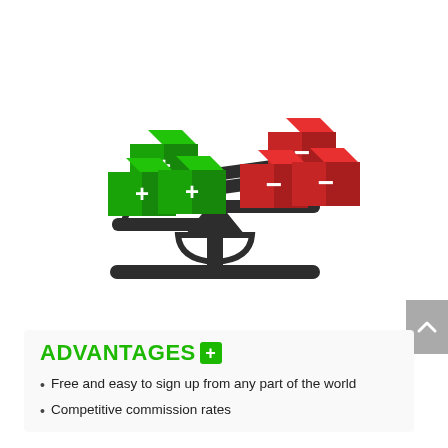[Figure (illustration): A balance scale illustration with three green 3D cubes with plus signs on the left pan (heavier side, tilted down) and three red 3D cubes with minus signs on the right pan (lighter side, tilted up). The scale base is in dark gray/charcoal.]
ADVANTAGES+
Free and easy to sign up from any part of the world
Competitive commission rates